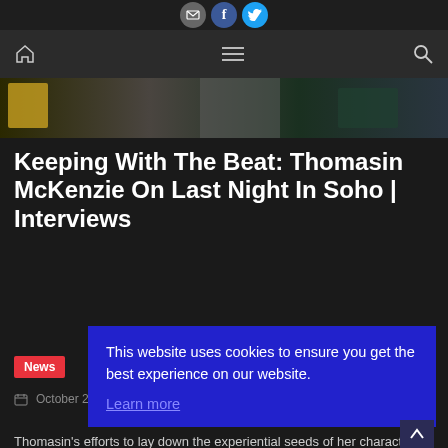Navigation bar with home, menu, and search icons; social media icons (email, Facebook, Twitter)
[Figure (photo): Partial hero image strip showing dark background with color fragments]
Keeping With The Beat: Thomasin McKenzie On Last Night In Soho | Interviews
News
October 29, 2021  Exilion  0
Thomasin's efforts to lay down the experiential seeds of her character led her to the School of Design at Massey University in Wellington where she attended lectures, did numerous sewing projects and learned how to hand-stitch, all the while working with the college's Program Leader for Fashion, Sue Prescott. These activities
This website uses cookies to ensure you get the best experience on our website.
Learn more
Got it